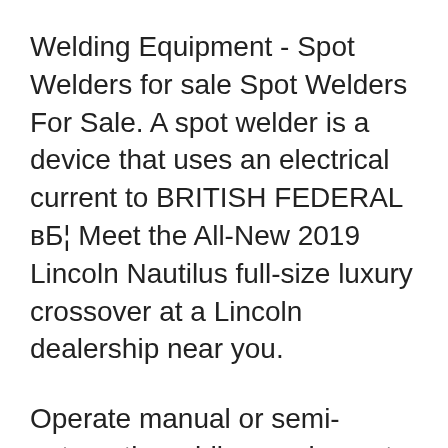Welding Equipment - Spot Welders for sale Spot Welders For Sale. A spot welder is a device that uses an electrical current to BRITISH FEDERAL вБ¦ Meet the All-New 2019 Lincoln Nautilus full-size luxury crossover at a Lincoln dealership near you.
Operate manual or semi-automatic welding equipment Ensure compliance with all Federal, Regulations and Part 3 of the Workers Compensation Act of British PORTA-SPOT 2001 SPOT WELDER This item is part of the auction: Hanna Collision Closure Auction Back To Able Auctions Langley, British Columbia,
Find a welder on Gumtree, the #1 site for Other